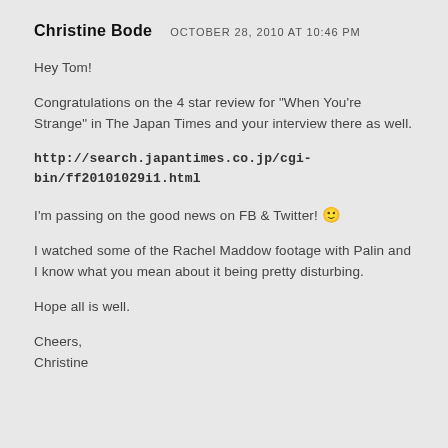Christine Bode   OCTOBER 28, 2010 AT 10:46 PM
Hey Tom!
Congratulations on the 4 star review for "When You're Strange" in The Japan Times and your interview there as well.
http://search.japantimes.co.jp/cgi-bin/ff20101029i1.html
I'm passing on the good news on FB & Twitter! 🙂
I watched some of the Rachel Maddow footage with Palin and I know what you mean about it being pretty disturbing.
Hope all is well.
Cheers,
Christine